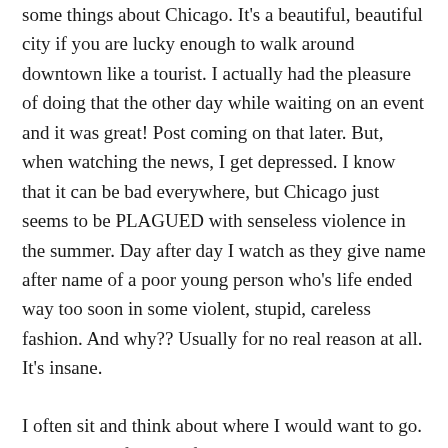some things about Chicago. It's a beautiful, beautiful city if you are lucky enough to walk around downtown like a tourist. I actually had the pleasure of doing that the other day while waiting on an event and it was great! Post coming on that later. But, when watching the news, I get depressed. I know that it can be bad everywhere, but Chicago just seems to be PLAGUED with senseless violence in the summer. Day after day I watch as they give name after name of a poor young person who's life ended way too soon in some violent, stupid, careless fashion. And why?? Usually for no real reason at all. It's insane.
I often sit and think about where I would want to go. I don't know for sure if I can come up with a real answer. I know some that have moved to Atlanta, Florida, California. I recently talked to some friends about moving to Houston. Now that almost sound appetizing. But it's